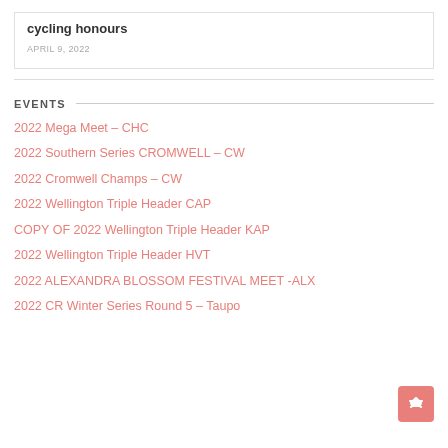cycling honours
APRIL 9, 2022
EVENTS
2022 Mega Meet – CHC
2022 Southern Series CROMWELL – CW
2022 Cromwell Champs – CW
2022 Wellington Triple Header CAP
COPY OF 2022 Wellington Triple Header KAP
2022 Wellington Triple Header HVT
2022 ALEXANDRA BLOSSOM FESTIVAL MEET -ALX
2022 CR Winter Series Round 5 – Taupo